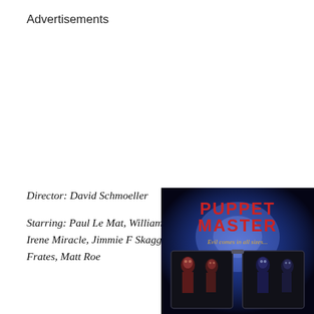Advertisements
Director: David Schmoeller
Starring: Paul Le Mat, William Hickey, Irene Miracle, Jimmie F Skaggs, Robin Frates, Matt Roe
[Figure (photo): Movie poster for Puppet Master. Dark blue glowing background. Red and orange text reading PUPPET MASTER with tagline 'Evil comes in all sizes...' showing puppets in a briefcase.]